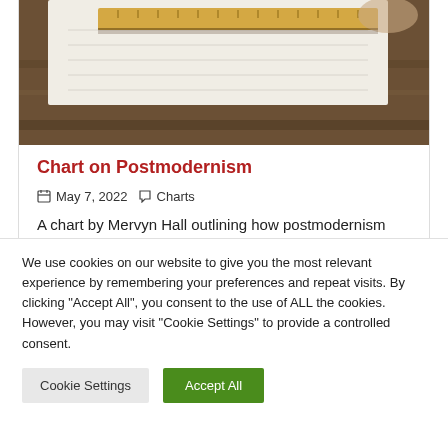[Figure (photo): Close-up photo of an open notebook with a ruler on a wooden desk surface]
Chart on Postmodernism
May 7, 2022   Charts
A chart by Mervyn Hall outlining how postmodernism
We use cookies on our website to give you the most relevant experience by remembering your preferences and repeat visits. By clicking "Accept All", you consent to the use of ALL the cookies. However, you may visit "Cookie Settings" to provide a controlled consent.